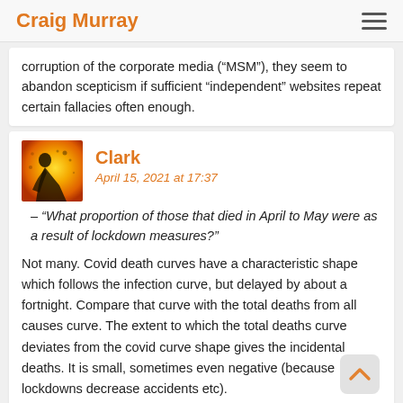Craig Murray
corruption of the corporate media (“MSM”), they seem to abandon scepticism if sufficient “independent” websites repeat certain fallacies often enough.
Clark
April 15, 2021 at 17:37
– “What proportion of those that died in April to May were as a result of lockdown measures?”
Not many. Covid death curves have a characteristic shape which follows the infection curve, but delayed by about a fortnight. Compare that curve with the total deaths from all causes curve. The extent to which the total deaths curve deviates from the covid curve shape gives the incidental deaths. It is small, sometimes even negative (because lockdowns decrease accidents etc).